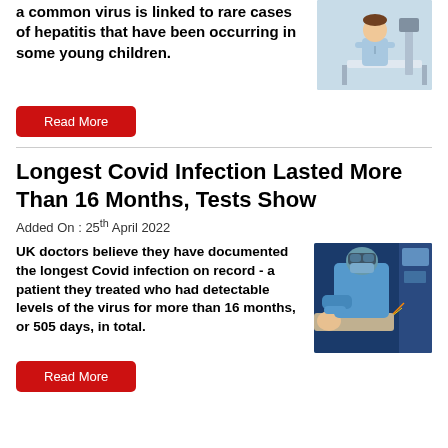a common virus is linked to rare cases of hepatitis that have been occurring in some young children.
[Figure (photo): Child patient sitting on a hospital bed in a medical gown]
Read More
Longest Covid Infection Lasted More Than 16 Months, Tests Show
Added On : 25th April 2022
UK doctors believe they have documented the longest Covid infection on record - a patient they treated who had detectable levels of the virus for more than 16 months, or 505 days, in total.
[Figure (photo): Medical professional in PPE treating a patient in an ICU setting]
Read More